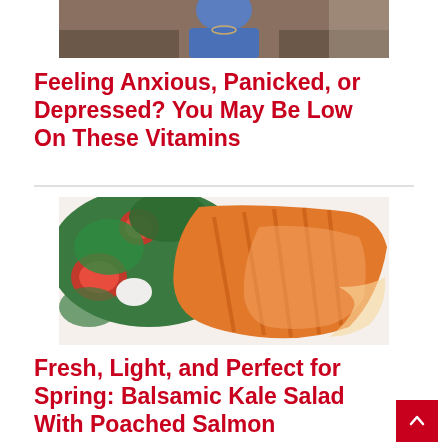[Figure (photo): Partial photo of a person in a blue shirt, cropped at the top]
Feeling Anxious, Panicked, or Depressed? You May Be Low On These Vitamins
[Figure (photo): Close-up photo of grilled salmon fillet with fresh greens and tomatoes on a white plate]
Fresh, Light, and Perfect for Spring: Balsamic Kale Salad With Poached Salmon